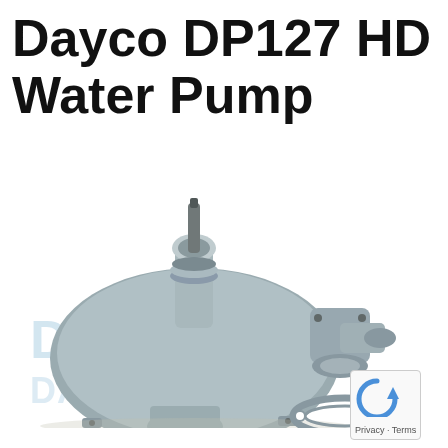Dayco DP127 HD Water Pump
[Figure (photo): Dayco DP127 HD water pump — a cast metal automotive water pump assembly shown with a gasket accessory below it. The pump body is silver/grey cast iron with a vertical shaft at top, pipe flanges on the right side, and mounting brackets. A Dayco watermark logo is faintly visible in blue across the pump body. A flat oval gasket is shown at the bottom right.]
[Figure (other): reCAPTCHA widget showing a circular arrow icon. Text below reads: Privacy - Terms]